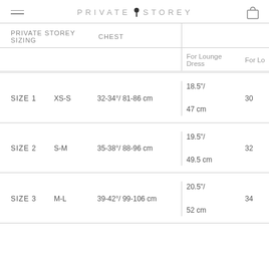PRIVATE STOREY
| PRIVATE STOREY SIZING | CHEST | For Lounge Dress | For Lo |
| --- | --- | --- | --- |
| SIZE 1 | XS-S | 32-34°/ 81-86 cm | 18.5"/ 47 cm | 30 |
| SIZE 2 | S-M | 35-38°/ 88-96 cm | 19.5"/ 49.5 cm | 32 |
| SIZE 3 | M-L | 39-42°/ 99-106 cm | 20.5"/ 52 cm | 34 |